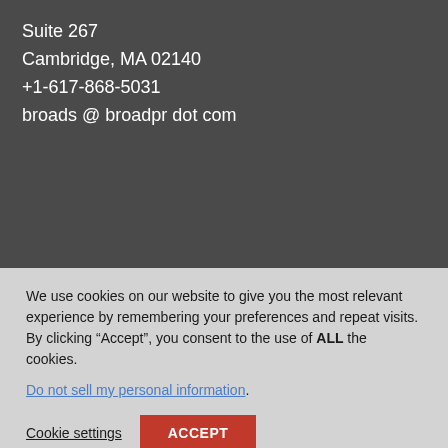Suite 267
Cambridge, MA 02140
+1-617-868-5031
broads @ broadpr dot com
We use cookies on our website to give you the most relevant experience by remembering your preferences and repeat visits. By clicking “Accept”, you consent to the use of ALL the cookies.
Do not sell my personal information.
Cookie settings
ACCEPT